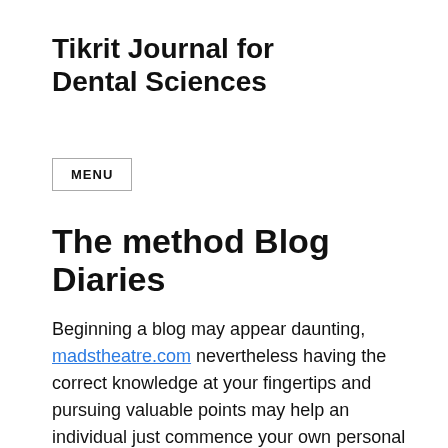Tikrit Journal for Dental Sciences
MENU
The method Blog Diaries
Beginning a blog may appear daunting, madstheatre.com nevertheless having the correct knowledge at your fingertips and pursuing valuable points may help an individual just commence your own personal blog, but make it a complete success. There are numerous ways in which you can actually